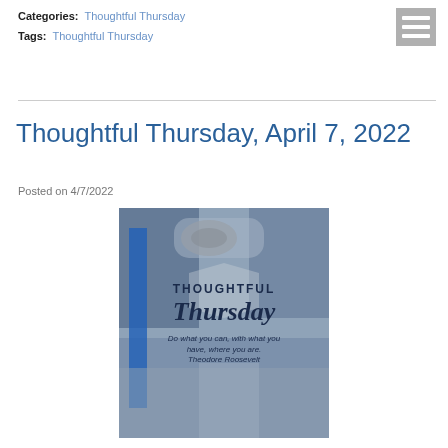Categories: Thoughtful Thursday
Tags: Thoughtful Thursday
Thoughtful Thursday, April 7, 2022
Posted on 4/7/2022
[Figure (photo): Thoughtful Thursday promotional image with text overlay: 'THOUGHTFUL Thursday - Do what you can, with what you have, where you are. Theodore Roosevelt' over an automotive workshop background.]